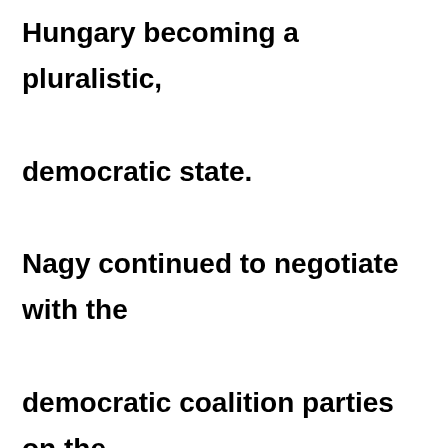Hungary becoming a pluralistic, democratic state. Nagy continued to negotiate with the democratic coalition parties on the composition of a new representative government, and with representatives of various social groups and revolutionary councils bent on establishing a new order, while General Béla Király united